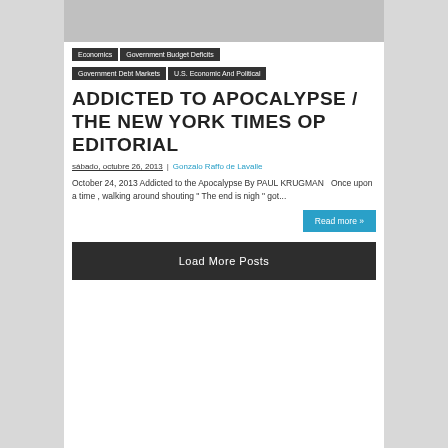[Figure (photo): Gray banner image at top of page]
Economics
Government Budget Deficits
Government Debt Markets
U.S. Economic And Political
ADDICTED TO APOCALYPSE / THE NEW YORK TIMES OP EDITORIAL
sábado, octubre 26, 2013 | Gonzalo Raffo de Lavalle
October 24, 2013 Addicted to the Apocalypse By PAUL KRUGMAN   Once upon a time , walking around shouting " The end is nigh " got...
Read more »
Load More Posts